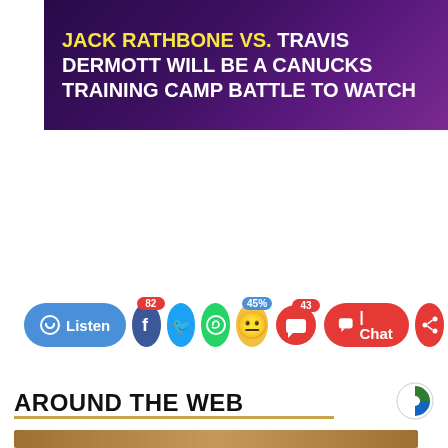[Figure (screenshot): Dark purple banner with bold text: 'JACK RATHBONE VS. TRAVIS DERMOTT WILL BE A CANUCKS TRAINING CAMP BATTLE TO WATCH', with 'JACK RATHBONE VS.' in yellow and the rest in white.]
[Figure (screenshot): Social sharing bar with Listen button (blue), Facebook icon (82 badge), Twitter icon, WhatsApp icon, emoji reaction icon (45%), comment/vote icon (43), Chat button (red), and share icon.]
[Figure (infographic): Vuukle reaction widget showing 'What is your reaction? 22 votes Powered by Vuukle' with 6 emoji reactions: Happy 18%, Unmoved 45%, Amused 36%, Excited 0%, Angry 0%, Sad 0%.]
AROUND THE WEB